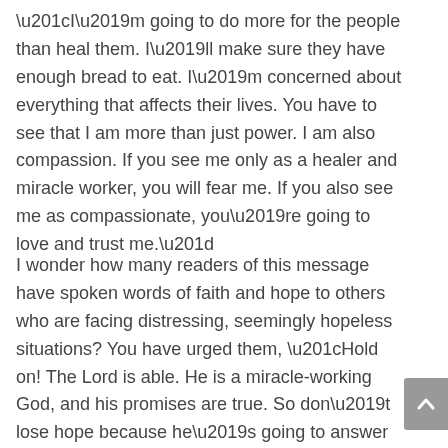“I’m going to do more for the people than heal them. I’ll make sure they have enough bread to eat. I’m concerned about everything that affects their lives. You have to see that I am more than just power. I am also compassion. If you see me only as a healer and miracle worker, you will fear me. If you also see me as compassionate, you’re going to love and trust me.”
I wonder how many readers of this message have spoken words of faith and hope to others who are facing distressing, seemingly hopeless situations? You have urged them, “Hold on! The Lord is able. He is a miracle-working God, and his promises are true. So don’t lose hope because he’s going to answer your cry.” If someone were to ask us, “Do you really believe in miracles?”, our answer would quickly be “Yes, of course. I believe in every